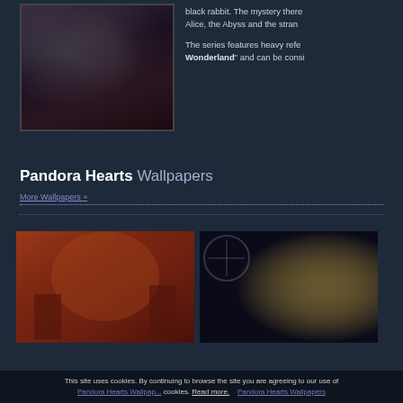[Figure (illustration): Anime illustration from Pandora Hearts showing two dark-haired characters in dramatic poses against a dark background]
black rabbit. The mystery there... Alice, the Abyss and the stran...
The series features heavy refe... Wonderland" and can be consi...
Pandora Hearts Wallpapers
More Wallpapers »
[Figure (illustration): Pandora Hearts anime wallpaper with colorful circus/carnival theme showing multiple characters]
[Figure (illustration): Pandora Hearts anime wallpaper showing characters in dark moody setting with clock imagery]
This site uses cookies. By continuing to browse the site you are agreeing to our use of cookies. Read more.